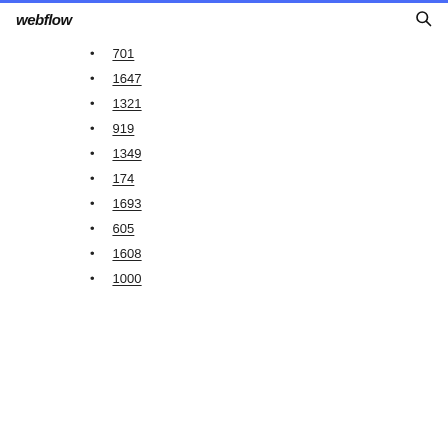webflow
701
1647
1321
919
1349
174
1693
605
1608
1000